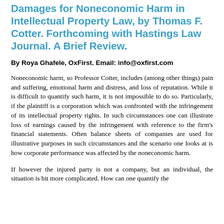Damages for Noneconomic Harm in Intellectual Property Law, by Thomas F. Cotter. Forthcoming with Hastings Law Journal. A Brief Review.
By Roya Ghafele, OxFirst. Email: info@oxfirst.com
Noneconomic harm, so Professor Cotter, includes (among other things) pain and suffering, emotional harm and distress, and loss of reputation. While it is difficult to quantify such harm, it is not impossible to do so. Particularly, if the plaintiff is a corporation which was confronted with the infringement of its intellectual property rights. In such circumstances one can illustrate loss of earnings caused by the infringement with reference to the firm's financial statements. Often balance sheets of companies are used for illustrative purposes in such circumstances and the scenario one looks at is how corporate performance was affected by the noneconomic harm.
If however the injured party is not a company, but an individual, the situation is bit more complicated. How can one quantify the